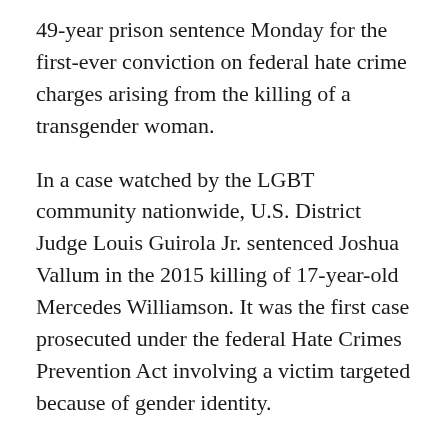49-year prison sentence Monday for the first-ever conviction on federal hate crime charges arising from the killing of a transgender woman.
In a case watched by the LGBT community nationwide, U.S. District Judge Louis Guirola Jr. sentenced Joshua Vallum in the 2015 killing of 17-year-old Mercedes Williamson. It was the first case prosecuted under the federal Hate Crimes Prevention Act involving a victim targeted because of gender identity.
Prosecutors said Vallum shocked 17-year-old Mercedes Williamson with a stun gun, stabbed her and beat her to death in 2015 to keep fellow Latin Kings gang members from discovering the two were having sex. Gang rules barred homosexual activity